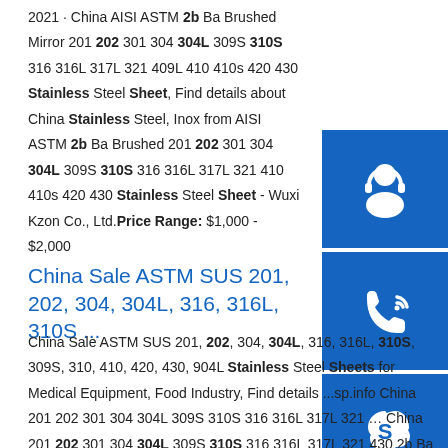2021 · China AISI ASTM 2b Ba Brushed Mirror 201 202 301 304 304L 309S 310S 316 316L 317L 321 409L 410 410s 420 430 Stainless Steel Sheet, Find details about China Stainless Steel, Inox from AISI ASTM 2b Ba Brushed 201 202 301 304 304L 309S 310S 316 316L 317L 321 410 410s 420 430 Stainless Steel Sheet - Wuxi Kzon Co., Ltd.Price Range: $1,000 - $2,000
[Figure (illustration): Blue square icon with white headset/customer support icon]
[Figure (illustration): Blue square icon with white telephone/call icon]
[Figure (illustration): Blue square icon with white Skype logo]
China Sale ASTM SUS 201, 202, 304, 304L, 316, 316L, 310S ...
China Sale ASTM SUS 201, 202, 304, 304L, 316, 316L, 310S, 309S, 310, 410, 420, 430, 904L Stainless Steel Sheets for Medical Equipment, Food Industry, Find details ...sp.info China 201 202 301 304 304L 309S 310S 316 316L 317L 321 ... China 201 202 301 304 304L 309S 310S 316 316L 317L 321 430 2b Ba Brushed Mirror Stainless Steel Sheet Price, Find ...